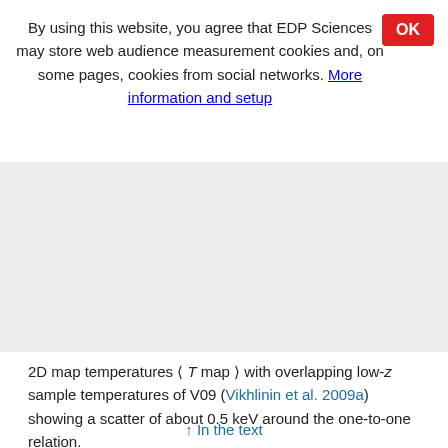By using this website, you agree that EDP Sciences may store web audience measurement cookies and, on some pages, cookies from social networks. More information and setup
[Figure (other): Gray placeholder area representing a hidden/loading figure region]
2D map temperatures ⟨ T map ⟩ with overlapping low-z sample temperatures of V09 (Vikhlinin et al. 2009a) showing a scatter of about 0.5 keV around the one-to-one relation.
↑ In the text